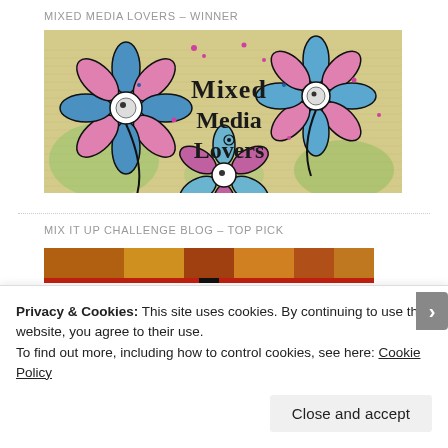MIXED MEDIA LOVERS – WINNER
[Figure (illustration): Mixed Media Lovers badge/artwork showing decorative flowers with blue, pink and swirling patterns on a vintage text background, with 'Mixed Media Lovers' text in the center]
MIX IT UP CHALLENGE BLOG – TOP PICK
[Figure (illustration): Partial view of a colorful mixed-media artwork banner in warm orange, red, and gold tones]
Privacy & Cookies: This site uses cookies. By continuing to use this website, you agree to their use.
To find out more, including how to control cookies, see here: Cookie Policy
Close and accept